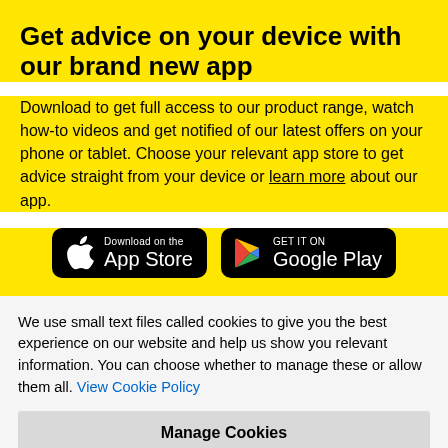Get advice on your device with our brand new app
Download to get full access to our product range, watch how-to videos and get notified of our latest offers on your phone or tablet. Choose your relevant app store to get advice straight from your device or learn more about our app.
[Figure (other): App Store and Google Play download buttons on black rounded rectangles]
We use small text files called cookies to give you the best experience on our website and help us show you relevant information. You can choose whether to manage these or allow them all. View Cookie Policy
Manage Cookies
Allow All